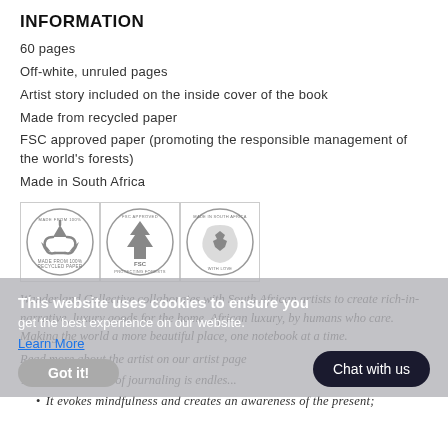INFORMATION
60 pages
Off-white, unruled pages
Artist story included on the inside cover of the book
Made from recycled paper
FSC approved paper (promoting the responsible management of the world's forests)
Made in South Africa
[Figure (logo): Three circular badge logos: Made from 100% Recycled Paper (recycling symbol), FSC Approved Protecting Forests (FSC tree symbol), Made in South Africa (South Africa map symbol)]
Wanderland Collective collaborates with South African artists to create rich-in-narrative, luxury goods for the home. African luxury, by humans who care. Making the world a more beautiful place, one notebook at a time.
Read more about the artist on our artist page
The list of benefits of journaling is endles...
It evokes mindfulness and creates an awareness of the present;